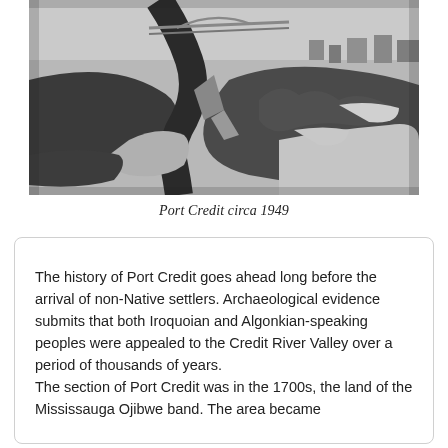[Figure (photo): Black and white aerial photograph of Port Credit circa 1949, showing a river mouth meeting a lake with a bridge, waterfront buildings, and snow-covered landscape.]
Port Credit circa 1949
The history of Port Credit goes ahead long before the arrival of non-Native settlers. Archaeological evidence submits that both Iroquoian and Algonkian-speaking peoples were appealed to the Credit River Valley over a period of thousands of years.
The section of Port Credit was in the 1700s, the land of the Mississauga Ojibwe band. The area became